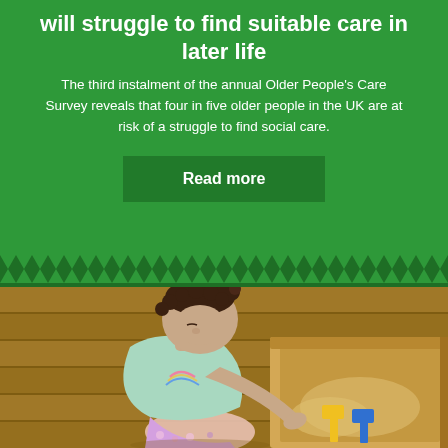will struggle to find suitable care in later life
The third instalment of the annual Older People's Care Survey reveals that four in five older people in the UK are at risk of a struggle to find social care.
Read more
[Figure (photo): A young toddler with curly hair in a bun, wearing a mint green t-shirt and patterned leggings, bending over to play in a sandbox with yellow and blue toy shovels.]